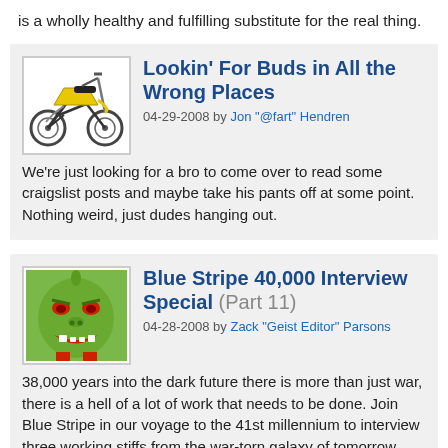is a wholly healthy and fulfilling substitute for the real thing.
Lookin' For Buds in All the Wrong Places
04-29-2008 by Jon "@fart" Hendren
We're just looking for a bro to come over to read some craigslist posts and maybe take his pants off at some point. Nothing weird, just dudes hanging out.
Blue Stripe 40,000 Interview Special (Part 11)
04-28-2008 by Zack "Geist Editor" Parsons
38,000 years into the dark future there is more than just war, there is a hell of a lot of work that needs to be done. Join Blue Stripe in our voyage to the 41st millennium to interview three working stiffs from the war-torn galaxy of tomorrow.